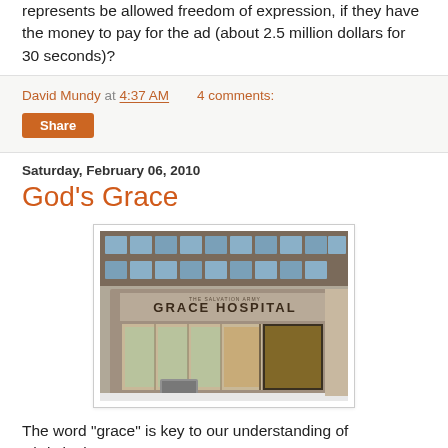represents be allowed freedom of expression, if they have the money to pay for the ad (about 2.5 million dollars for 30 seconds)?
David Mundy at 4:37 AM   4 comments:
Share
Saturday, February 06, 2010
God's Grace
[Figure (photo): Exterior of Grace Hospital, a building with stone facade and signage reading GRACE HOSPITAL above the entrance doors.]
The word "grace" is key to our understanding of Christianity.